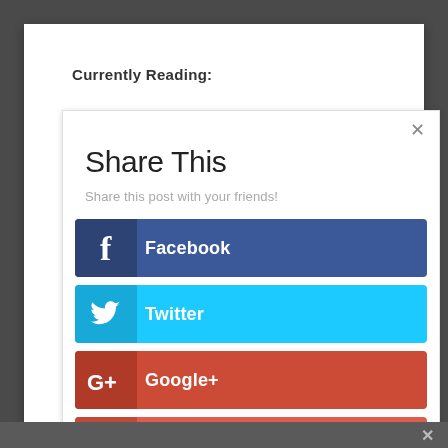Currently Reading:
Share This
Share this post with your friends!
Facebook
Twitter
Google+
Like
...